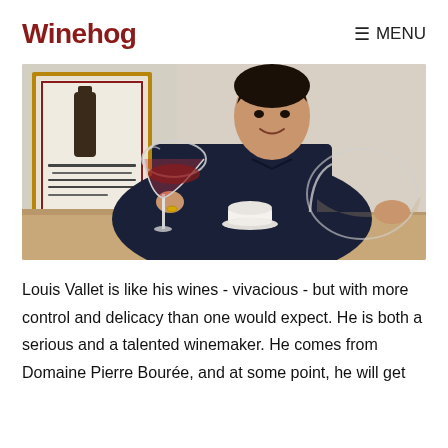Winehog   ≡ MENU
[Figure (photo): A man in a dark navy shirt leans forward holding a large wine glass with red wine toward the camera, smiling. A wine bottle poster is on the wall behind him. A coffee cup and saucer and a large glass decanter are on the table in front of him.]
Louis Vallet is like his wines - vivacious - but with more control and delicacy than one would expect. He is both a serious and a talented winemaker. He comes from Domaine Pierre Bourée, and at some point, he will get